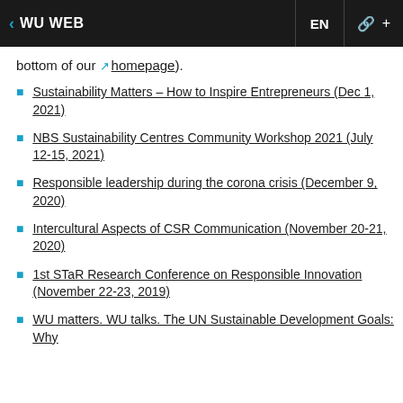WU WEB
bottom of our homepage).
Sustainability Matters – How to Inspire Entrepreneurs (Dec 1, 2021)
NBS Sustainability Centres Community Workshop 2021 (July 12-15, 2021)
Responsible leadership during the corona crisis (December 9, 2020)
Intercultural Aspects of CSR Communication (November 20-21, 2020)
1st STaR Research Conference on Responsible Innovation (November 22-23, 2019)
WU matters. WU talks. The UN Sustainable Development Goals: Why